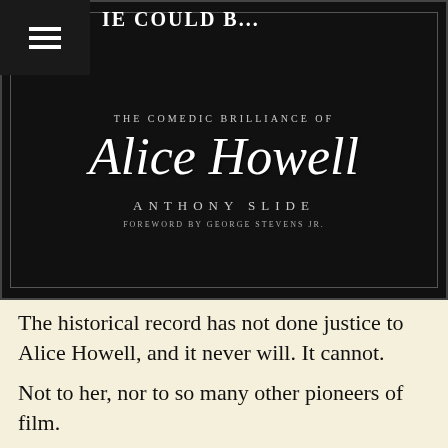[Figure (photo): Book cover image for 'The Comedic Brilliance of Alice Howell' by Anthony Slide, foreword by George Stevens Jr. Dark/black background with white script and serif lettering, decorative border.]
The historical record has not done justice to Alice Howell, and it never will. It cannot.
Not to her, nor to so many other pioneers of film.